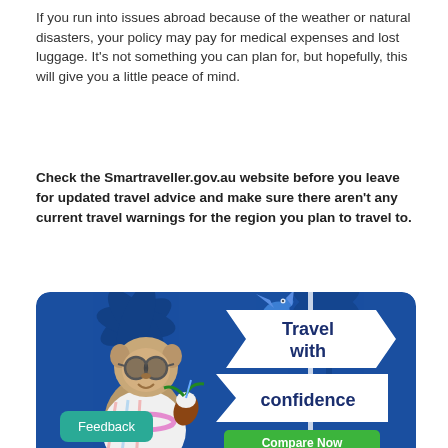If you run into issues abroad because of the weather or natural disasters, your policy may pay for medical expenses and lost luggage. It’s not something you can plan for, but hopefully, this will give you a little peace of mind.
Check the Smartraveller.gov.au website before you leave for updated travel advice and make sure there aren’t any current travel warnings for the region you plan to travel to.
[Figure (illustration): Promotional banner with blue background showing a meerkat in a hawaiian shirt holding a coconut drink, palm trees in background, and directional signs reading 'Travel with confidence' with a green 'Compare Now' button]
Feedback